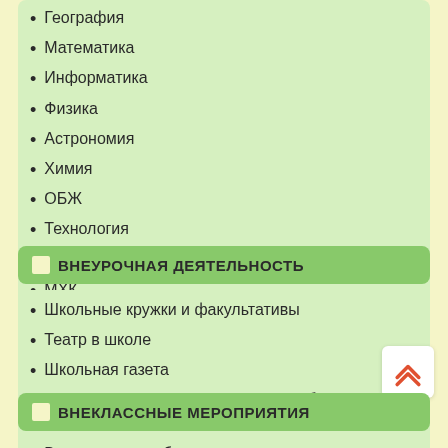География
Математика
Информатика
Физика
Астрономия
Химия
ОБЖ
Технология
Физкультура
МХК
Музыка
ИЗО
ВНЕУРОЧНАЯ ДЕЯТЕЛЬНОСТЬ
Школьные кружки и факультативы
Театр в школе
Школьная газета
Дополнительное художественное образование детей на каникулах
Кружок по плетению узлов-оберегов
ВНЕКЛАССНЫЕ МЕРОПРИЯТИЯ
Внеклассная работа